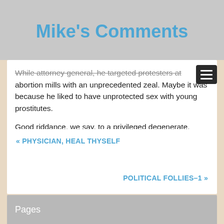Mike's Comments
insurance plans to cover them, force employers to purchase them, force physicians to perform abortions, and undermine parental involvement in the life decisions of their children.
While attorney general, he targeted protesters at abortion mills with an unprecedented zeal. Maybe it was because he liked to have unprotected sex with young prostitutes.
Good riddance, we say, to a privileged degenerate.
« PHYSICIAN, HEAL THYSELF
POLITICAL FOLLIES–1 »
Pages